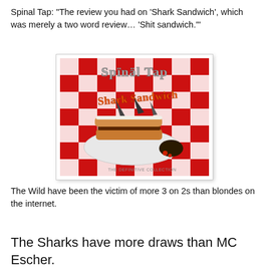Spinal Tap: "The review you had on 'Shark Sandwich', which was merely a two word review… 'Shit sandwich.'"
[Figure (photo): Album cover of Spinal Tap's 'Shark Sandwich' — a painted illustration of a large sandwich on a white plate with shark fins sticking out, set on a red and white checkered floor. The band name 'Spinal Tap' appears in metallic gothic lettering at the top, and 'Shark Sandwich' in orange stylized text below.]
The Wild have been the victim of more 3 on 2s than blondes on the internet.
The Sharks have more draws than MC Escher.